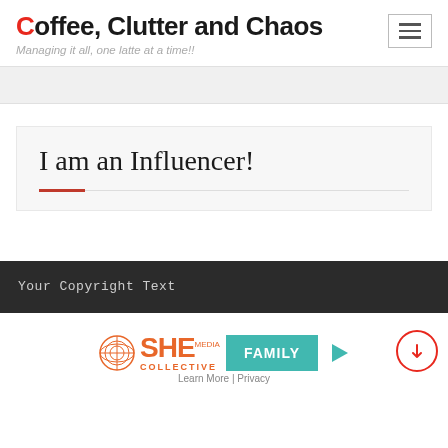Coffee, Clutter and Chaos — Managing it all, one latte at a time!!
I am an Influencer!
Your Copyright Text
[Figure (logo): SHE Media Collective FAMILY advertisement logo with teal Family button, play icon, and Learn More | Privacy links]